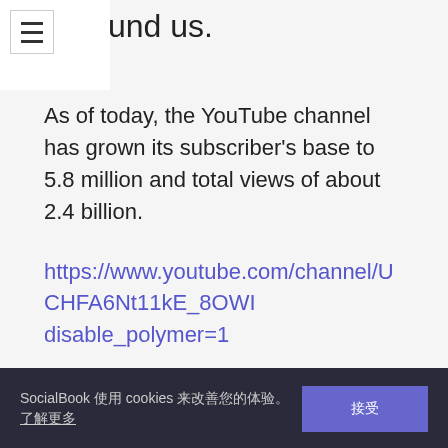und us.
As of today, the YouTube channel has grown its subscriber's base to 5.8 million and total views of about 2.4 billion.
https://www.youtube.com/channel/UCHFA6Nt11kE_8OWI disable_polymer=1
SocialBook 使用 cookies 来改善您的体验。了解更多